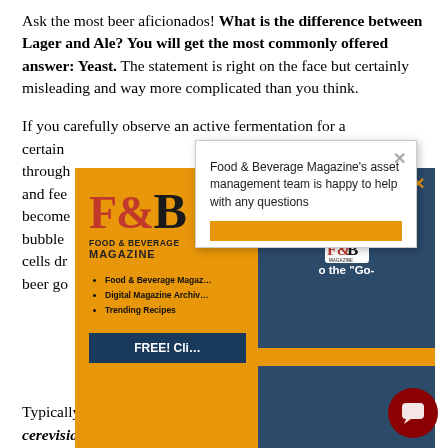Ask the most beer aficionados! What is the difference between Lager and Ale? You will get the most commonly offered answer: Yeast. The statement is right on the face but certainly misleading and way more complicated than you think.
If you carefully observe an active fermentation for a certain [obscured by popup] ed through [obscured] ly and fee [obscured] wort become [obscured] bubble [obscured] cells dr [obscured] beer go [obscured]
[Figure (screenshot): Food & Beverage Magazine popup advertisement with orange left panel showing F&B logo, magazine label, list of links (Food & Beverage Maga..., Digital Magazine Archiv..., Trending Recipes), FREE! Cli... button; right dark blue panel with X close button and 'Access your FREE Subscripti[on] to the Go-[Pro]' text with F&B logo; second white popup showing 'Food & Beverage Magazine's asset management team is happy to help with any questions'; dark red chat bubble in bottom right]
Typically, Ale is fermented by using the Saccharomyces cerevisiae. It is a common type of yeast